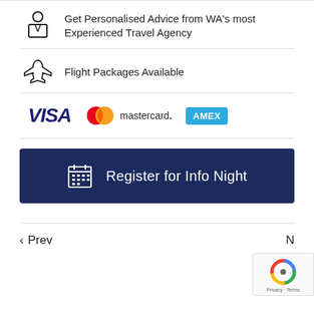Get Personalised Advice from WA's most Experienced Travel Agency
Flight Packages Available
[Figure (logo): Payment logos: VISA, Mastercard, American Express (AMEX)]
Register for Info Night
< Prev   N...